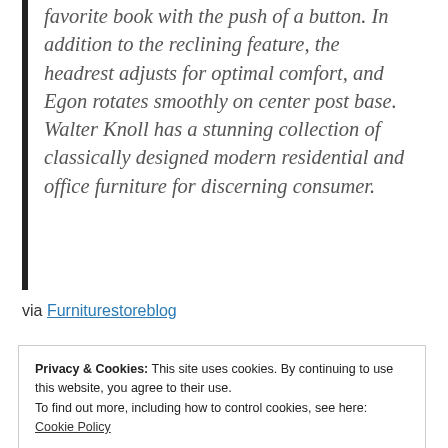favorite book with the push of a button. In addition to the reclining feature, the headrest adjusts for optimal comfort, and Egon rotates smoothly on center post base. Walter Knoll has a stunning collection of classically designed modern residential and office furniture for discerning consumer.
via Furniturestoreblog
Privacy & Cookies: This site uses cookies. By continuing to use this website, you agree to their use.
To find out more, including how to control cookies, see here: Cookie Policy